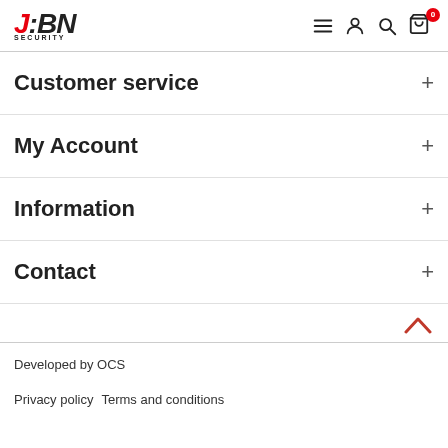JBN Security — navigation header with menu, account, search, cart icons
Customer service
My Account
Information
Contact
Developed by OCS
Privacy policy   Terms and conditions